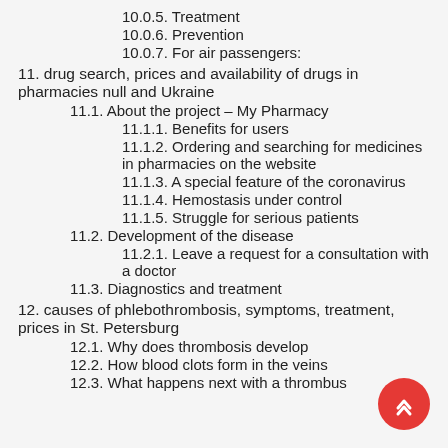10.0.5. Treatment
10.0.6. Prevention
10.0.7. For air passengers:
11. drug search, prices and availability of drugs in pharmacies null and Ukraine
11.1. About the project – My Pharmacy
11.1.1. Benefits for users
11.1.2. Ordering and searching for medicines in pharmacies on the website
11.1.3. A special feature of the coronavirus
11.1.4. Hemostasis under control
11.1.5. Struggle for serious patients
11.2. Development of the disease
11.2.1. Leave a request for a consultation with a doctor
11.3. Diagnostics and treatment
12. causes of phlebothrombosis, symptoms, treatment, prices in St. Petersburg
12.1. Why does thrombosis develop
12.2. How blood clots form in the veins
12.3. What happens next with a thrombus